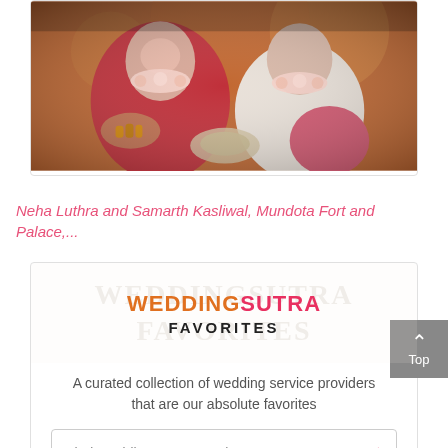[Figure (photo): Indian wedding ceremony photo showing bride in red saree with gold jewelry and flower garlands, groom in white with pink accent, both seated during ceremony rituals]
Neha Luthra and Samarth Kasliwal, Mundota Fort and Palace,...
[Figure (logo): WeddingSutra Favorites banner with watermark background text and logo. WEDDING in orange, SUTRA in pink, FAVORITES in black bold below]
A curated collection of wedding service providers that are our absolute favorites
Find WeddingSutra Favorites